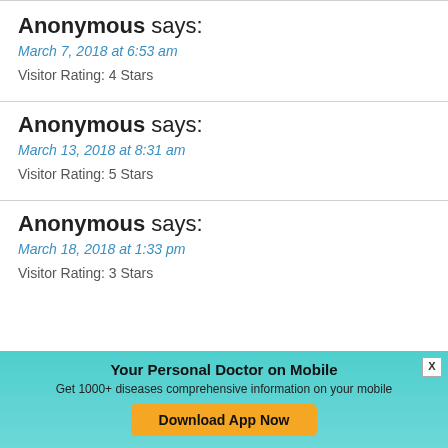Anonymous says: March 7, 2018 at 6:53 am — Visitor Rating: 4 Stars
Anonymous says: March 13, 2018 at 8:31 am — Visitor Rating: 5 Stars
Anonymous says: March 18, 2018 at 1:33 pm — Visitor Rating: 3 Stars
Your Personal Doctor on Mobile — Get 1000+ diseases comprehensive information on your mobile — Download App Now